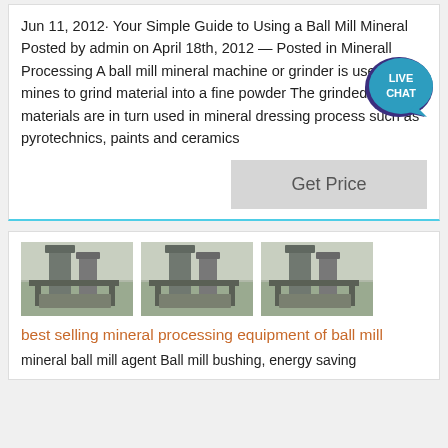Jun 11, 2012· Your Simple Guide to Using a Ball Mill Mineral Posted by admin on April 18th, 2012 — Posted in Minerall Processing A ball mill mineral machine or grinder is used in mines to grind material into a fine powder The grinded materials are in turn used in mineral dressing process such as pyrotechnics, paints and ceramics
[Figure (other): Live Chat speech bubble icon in dark blue/purple with white text]
Get Price
[Figure (photo): Three photos of industrial ball mill mineral processing equipment at a facility]
best selling mineral processing equipment of ball mill
mineral ball mill agent Ball mill bushing, energy saving